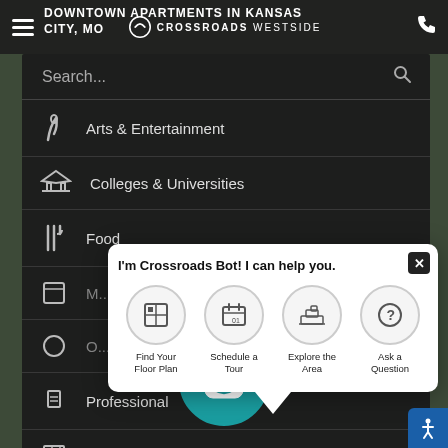DOWNTOWN APARTMENTS IN KANSAS CITY, MO — Crossroads Westside navigation bar
[Figure (screenshot): Navigation sidebar menu showing Search, Arts & Entertainment, Colleges & Universities, Food, (partially visible items), Professional, Residences, Shops & Services categories with icons, overlaid by a chatbot popup from 'Crossroads Bot' offering: Find Your Floor Plan, Schedule a Tour, Explore the Area, Ask a Question. A teal robot avatar is shown at bottom center. Accessibility button at bottom right.]